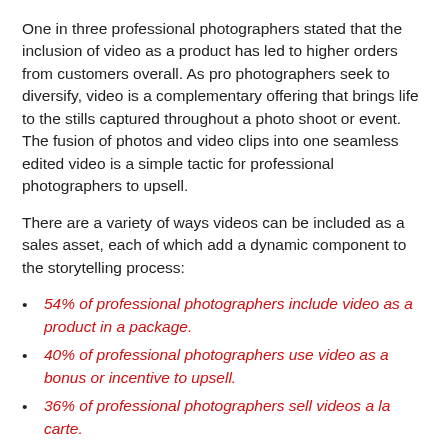One in three professional photographers stated that the inclusion of video as a product has led to higher orders from customers overall. As pro photographers seek to diversify, video is a complementary offering that brings life to the stills captured throughout a photo shoot or event. The fusion of photos and video clips into one seamless edited video is a simple tactic for professional photographers to upsell.
There are a variety of ways videos can be included as a sales asset, each of which add a dynamic component to the storytelling process:
54% of professional photographers include video as a product in a package.
40% of professional photographers use video as a bonus or incentive to upsell.
36% of professional photographers sell videos a la carte.
Video Increases Brand Awareness